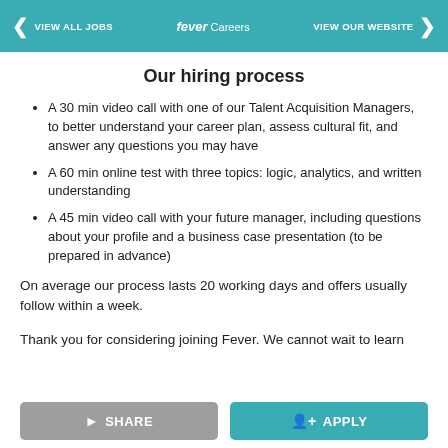< VIEW ALL JOBS   fever Careers   VIEW OUR WEBSITE >
Our hiring process
A 30 min video call with one of our Talent Acquisition Managers, to better understand your career plan, assess cultural fit, and answer any questions you may have
A 60 min online test with three topics: logic, analytics, and written understanding
A 45 min video call with your future manager, including questions about your profile and a business case presentation (to be prepared in advance)
On average our process lasts 20 working days and offers usually follow within a week.
Thank you for considering joining Fever. We cannot wait to learn...